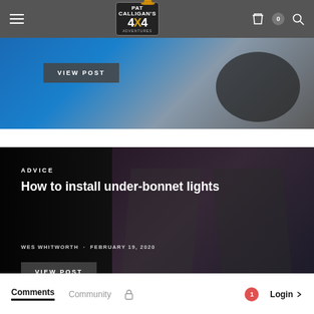Pat Calligan's 4x4 Adventures
[Figure (screenshot): Blue off-road vehicle partial view with 'VIEW POST' button overlay]
[Figure (photo): Man working under vehicle hood in dark garage, with overlay text: ADVICE - How to install under-bonnet lights - WES WHITWORTH · FEBRUARY 19, 2020 - VIEW POST button]
Comments  Community  Login